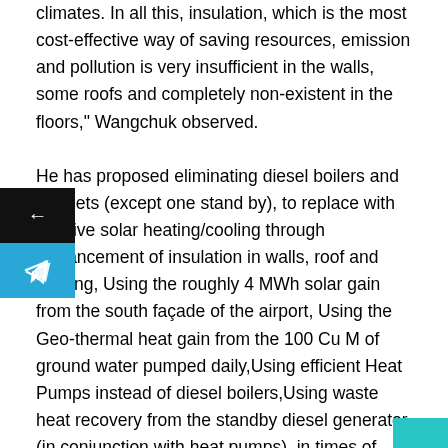climates. In all this, insulation, which is the most cost-effective way of saving resources, emission and pollution is very insufficient in the walls, some roofs and completely non-existent in the floors," Wangchuk observed.
He has proposed eliminating diesel boilers and DG sets (except one stand by), to replace with passive solar heating/cooling through Enhancement of insulation in walls, roof and flooring, Using the roughly 4 MWh solar gain from the south façade of the airport, Using the Geo-thermal heat gain from the 100 Cu M of ground water pumped daily,Using efficient Heat Pumps instead of diesel boilers,Using waste heat recovery from the standby diesel generator (in conjunction with heat pumps), in times of simultaneous cloudy weather and grid failure.
He thanked the heads of Airports Authority of India for being cooperative and supportive for sharing data and design details which enabled him to propose a new concept which will make the Leh airport completely carbon neutral and will save the